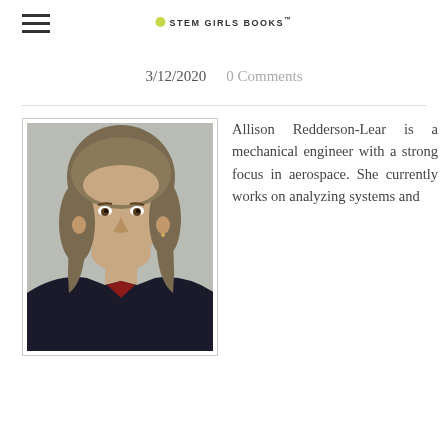STEM GIRLS BOOKS™
3/12/2020   0 Comments
[Figure (photo): Portrait photo of Allison Redderson-Lear, a young woman with medium-length brown hair wearing a dark blazer, smiling in front of a light gray background.]
Allison Redderson-Lear is a mechanical engineer with a strong focus in aerospace. She currently works on analyzing systems and